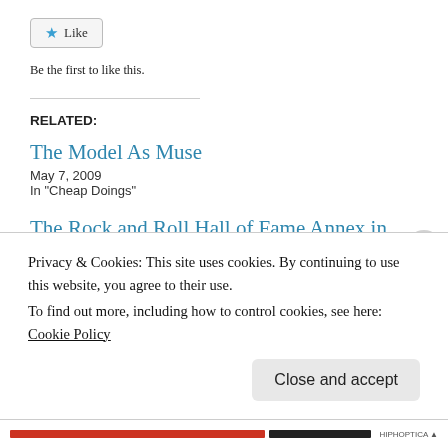[Figure (other): Like button with star icon]
Be the first to like this.
RELATED:
The Model As Muse
May 7, 2009
In "Cheap Doings"
The Rock and Roll Hall of Fame Annex in Soho
May 6, 2009
In "Cool Spaces"
MoMA's Most Ambitious Project Yet: Ruin Björk
Privacy & Cookies: This site uses cookies. By continuing to use this website, you agree to their use.
To find out more, including how to control cookies, see here: Cookie Policy
Close and accept